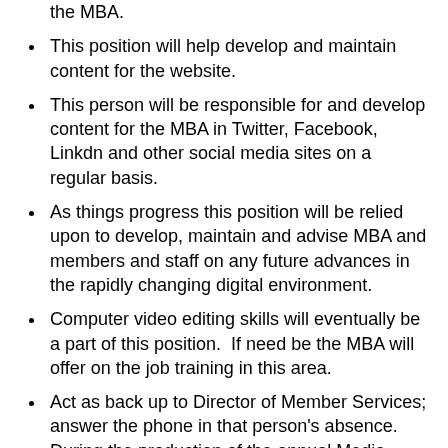the MBA.
This position will help develop and maintain content for the website.
This person will be responsible for and develop content for the MBA in Twitter, Facebook, Linkdn and other social media sites on a regular basis.
As things progress this position will be relied upon to develop, maintain and advise MBA and members and staff on any future advances in the rapidly changing digital environment.
Computer video editing skills will eventually be a part of this position.  If need be the MBA will offer on the job training in this area.
Act as back up to Director of Member Services; answer the phone in that person's absence.  During the production of the annual Media Directory, planning and implementation of MBA Convention, Hall of Fame and awards judging, this person will assist the Director of Member Services as directed by that person.